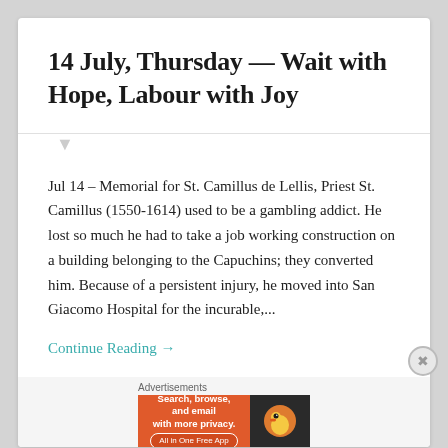14 July, Thursday — Wait with Hope, Labour with Joy
Jul 14 – Memorial for St. Camillus de Lellis, Priest St. Camillus (1550-1614) used to be a gambling addict. He lost so much he had to take a job working construction on a building belonging to the Capuchins; they converted him. Because of a persistent injury, he moved into San Giacomo Hospital for the incurable,...
Continue Reading →
Advertisements